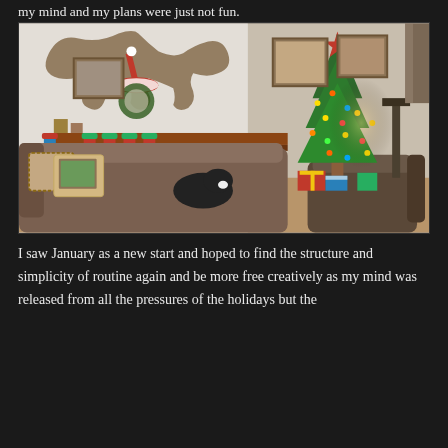my mind and my plans were just not fun.
[Figure (photo): Interior living room decorated for Christmas. A fireplace mantle with large moose antlers mounted above, decorated with a Santa hat, wreath, and holiday decorations. Several red and green stockings hang from the mantle. A large decorated Christmas tree with colorful lights and a red star topper stands to the right. A brown sectional sofa sits in the foreground with decorative pillows, and a black and white cat rests on the sofa. Framed pictures on the wall and wrapped presents under the tree.]
I saw January as a new start and hoped to find the structure and simplicity of routine again and be more free creatively as my mind was released from all the pressures of the holidays but the